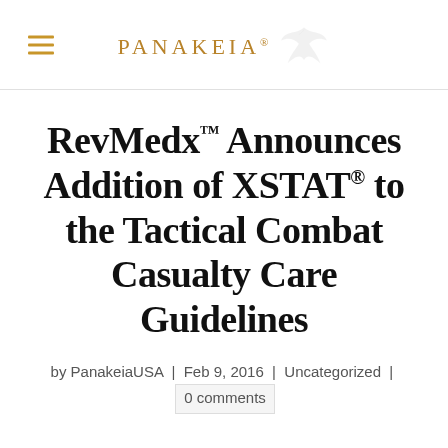PANAKEIA®
RevMedx™ Announces Addition of XSTAT® to the Tactical Combat Casualty Care Guidelines
by PanakeiaUSA | Feb 9, 2016 | Uncategorized | 0 comments